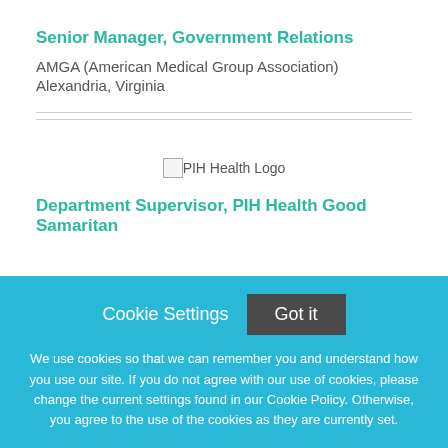Senior Manager, Government Relations
AMGA (American Medical Group Association)
Alexandria, Virginia
[Figure (logo): PIH Health Logo placeholder image]
Department Supervisor, PIH Health Good Samaritan
Cookie Settings  Got it

We use cookies so that we can remember you and understand how you use our site. If you do not agree with our use of cookies, please change the current settings found in our Cookie Policy. Otherwise, you agree to the use of the cookies as they are currently set.